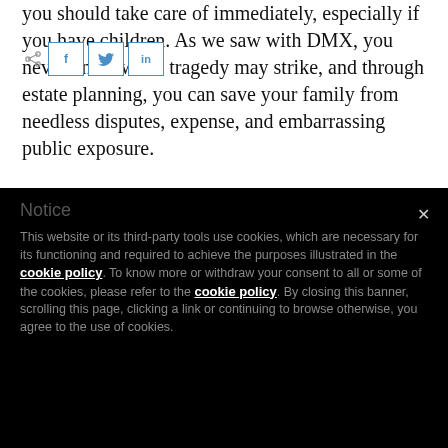you should take care of immediately, especially if you have children. As we saw with DMX, you never know when tragedy may strike, and through estate planning, you can save your family from needless disputes, expense, and embarrassing public exposure.
[Figure (other): Social share bar with share icon, Facebook, Twitter, and LinkedIn buttons]
Notice

This website or its third-party tools use cookies, which are necessary for its functioning and required to achieve the purposes illustrated in the cookie policy. To know more or withdraw your consent to all or some of the cookies, please refer to the cookie policy. By closing this banner, scrolling this page, clicking a link or continuing to browse otherwise, you agree to the use of cookies.